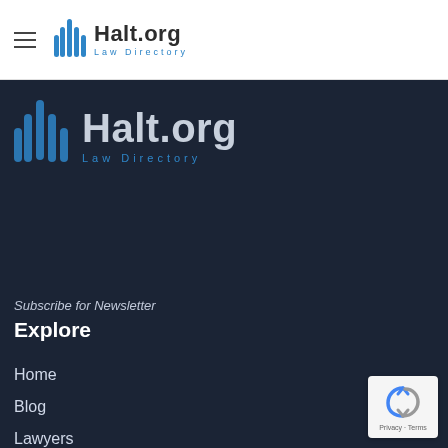[Figure (logo): Halt.org Law Directory logo in header bar with hamburger menu icon]
[Figure (logo): Halt.org Law Directory logo large version on dark background]
Subscribe for Newsletter
Explore
Home
Blog
Lawyers
Contact Us
About Us